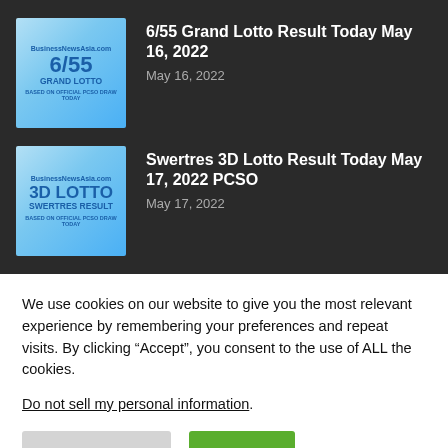[Figure (illustration): Thumbnail image for 6/55 Grand Lotto article — light blue background with '6/55 GRAND LOTTO' text and BusinessNewsAsia.com label]
6/55 Grand Lotto Result Today May 16, 2022
May 16, 2022
[Figure (illustration): Thumbnail image for 3D Lotto Swertres Result article — light blue background with '3D LOTTO SWERTRES RESULT' text and BusinessNewsAsia.com label]
Swertres 3D Lotto Result Today May 17, 2022 PCSO
May 17, 2022
We use cookies on our website to give you the most relevant experience by remembering your preferences and repeat visits. By clicking “Accept”, you consent to the use of ALL the cookies.
Do not sell my personal information.